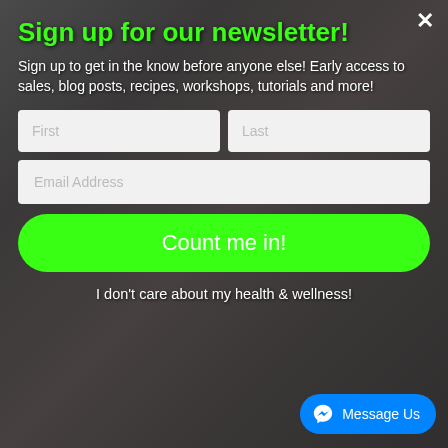[Figure (photo): Background photo of a gym interior with a woman lifting a barbell, flags on the wall including US flag, Marine Corps flag, Texas flag, and others. Black and white/monochrome gym equipment visible.]
Sign up for our newsletter!
Sign up to get in the know before anyone else! Early access to sales, blog posts, recipes, workshops, tutorials and more!
First
Last
Email Address
Count me in!
I don't care about my health & wellness!
Message Us